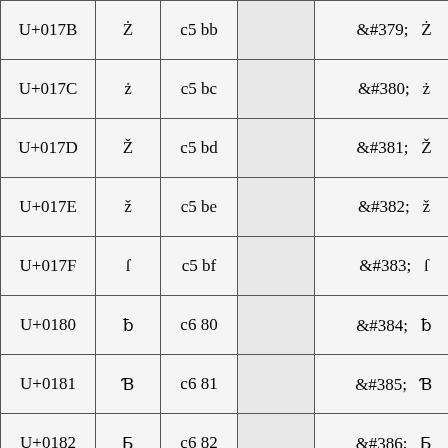| U+017B | Ż | c5 bb |  | &#379;   Ż |
| U+017C | ż | c5 bc |  | &#380;   ż |
| U+017D | Ž | c5 bd |  | &#381;   Ž |
| U+017E | ž | c5 be |  | &#382;   ž |
| U+017F | ſ | c5 bf |  | &#383;   ſ |
| U+0180 | ƀ | c6 80 |  | &#384;   ƀ |
| U+0181 | Ɓ | c6 81 |  | &#385;   Ɓ |
| U+0182 | Ƃ | c6 82 |  | &#386;   Ƃ |
|  |  |  |  |  |